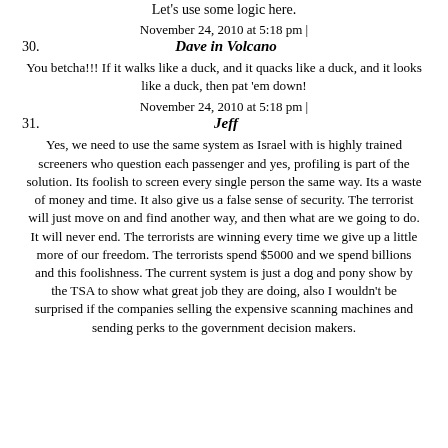Let's use some logic here.
November 24, 2010 at 5:18 pm |
30. Dave in Volcano
You betcha!!! If it walks like a duck, and it quacks like a duck, and it looks like a duck, then pat 'em down!
November 24, 2010 at 5:18 pm |
31. Jeff
Yes, we need to use the same system as Israel with is highly trained screeners who question each passenger and yes, profiling is part of the solution. Its foolish to screen every single person the same way. Its a waste of money and time. It also give us a false sense of security. The terrorist will just move on and find another way, and then what are we going to do. It will never end. The terrorists are winning every time we give up a little more of our freedom. The terrorists spend $5000 and we spend billions and this foolishness. The current system is just a dog and pony show by the TSA to show what great job they are doing, also I wouldn't be surprised if the companies selling the expensive scanning machines and sending perks to the government decision makers.